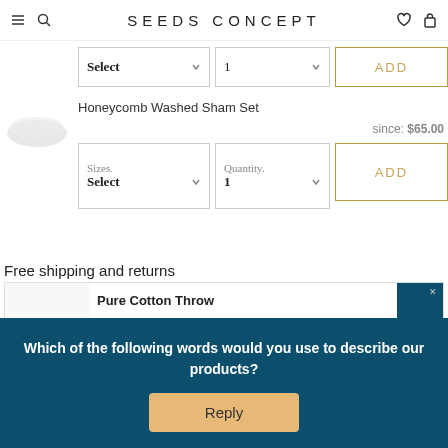SEEDS CONCEPT
Select  1  ADD
Honeycomb Washed Sham Set
since: $65.00
Sizes. Select   Quantity. 1   ADD
Free shipping and returns
Pure Cotton Throw
Which of the following words would you use to describe our products?
Reply